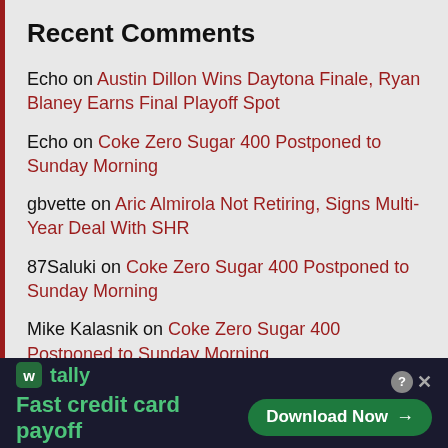Recent Comments
Echo on Austin Dillon Wins Daytona Finale, Ryan Blaney Earns Final Playoff Spot
Echo on Coke Zero Sugar 400 Postponed to Sunday Morning
gbvette on Aric Almirola Not Retiring, Signs Multi-Year Deal With SHR
87Saluki on Coke Zero Sugar 400 Postponed to Sunday Morning
Mike Kalasnik on Coke Zero Sugar 400 Postponed to Sunday Morning
[Figure (infographic): Tally advertisement banner: green Tally logo and 'Fast credit card payoff' tagline on dark background, with Download Now button on the right and a close/help button.]